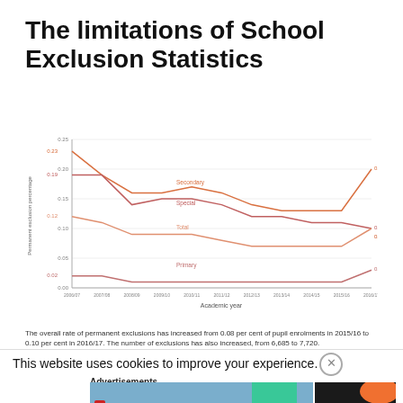The limitations of School Exclusion Statistics
[Figure (line-chart): Permanent exclusion percentage by school type]
The overall rate of permanent exclusions has increased from 0.08 per cent of pupil enrolments in 2015/16 to 0.10 per cent in 2016/17. The number of exclusions has also increased, from 6,685 to 7,720.
This website uses cookies to improve your experience.
Advertisements